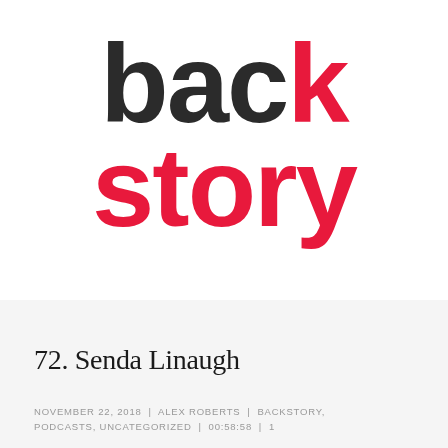[Figure (logo): BackStory podcast logo: large bold black text 'back' with red 'k', and large bold red text 'story' below]
72. Senda Linaugh
NOVEMBER 22, 2018  |  ALEX ROBERTS  |  BACKSTORY, PODCASTS, UNCATEGORIZED  |  00:58:58  |  1